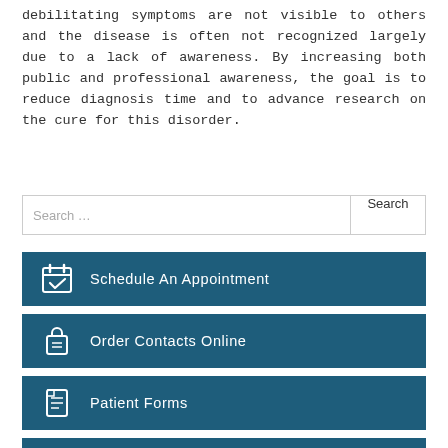debilitating symptoms are not visible to others and the disease is often not recognized largely due to a lack of awareness. By increasing both public and professional awareness, the goal is to reduce diagnosis time and to advance research on the cure for this disorder.
Search ...
Schedule An Appointment
Order Contacts Online
Patient Forms
Email Us